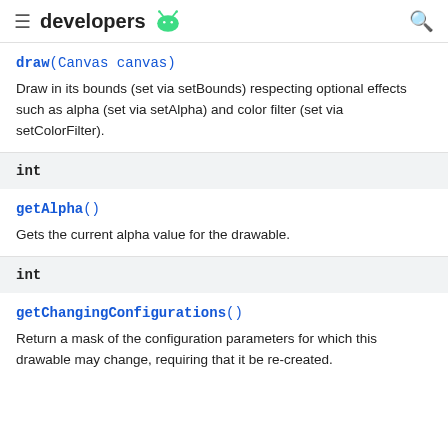developers
draw(Canvas canvas)
Draw in its bounds (set via setBounds) respecting optional effects such as alpha (set via setAlpha) and color filter (set via setColorFilter).
int
getAlpha()
Gets the current alpha value for the drawable.
int
getChangingConfigurations()
Return a mask of the configuration parameters for which this drawable may change, requiring that it be re-created.